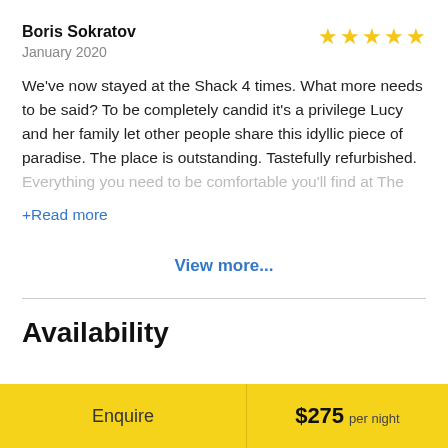Boris Sokratov
January 2020
[Figure (other): 5 gold star rating icons]
We've now stayed at the Shack 4 times. What more needs to be said? To be completely candid it's a privilege Lucy and her family let other people share this idyllic piece of paradise. The place is outstanding. Tastefully refurbished. Everything you need to be comfortable you'll find at The
+Read more
View more...
Availability
Enquire  $275 per night